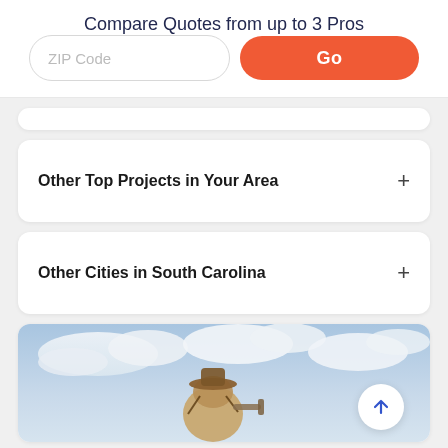Compare Quotes from up to 3 Pros
ZIP Code
Go
Other Top Projects in Your Area
Other Cities in South Carolina
[Figure (photo): Partially visible photo of a person or animal against a cloudy sky background, shown at bottom of page]